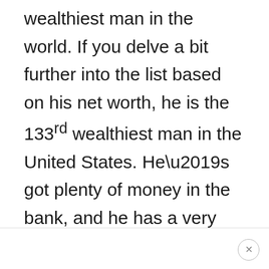wealthiest man in the world. If you delve a bit further into the list based on his net worth, he is the 133rd wealthiest man in the United States. He's got plenty of money in the bank, and he has a very successful business to continue to run. He's only 62, so he has plenty of time ahead of him to enjoy working before it's time to retire.